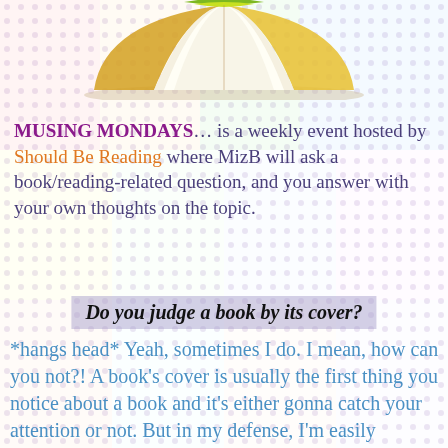[Figure (photo): An open book photographed from above showing colorful pages fanned out, with a green and yellow cover visible.]
MUSING MONDAYS… is a weekly event hosted by Should Be Reading where MizB will ask a book/reading-related question, and you answer with your own thoughts on the topic.
Do you judge a book by its cover?
*hangs head* Yeah, sometimes I do. I mean, how can you not?! A book's cover is usually the first thing you notice about a book and it's either gonna catch your attention or not. But in my defense, I'm easily distracted by and drawn to all things pretty, shiny, colorful, or weird. So, if a cover fits one of those